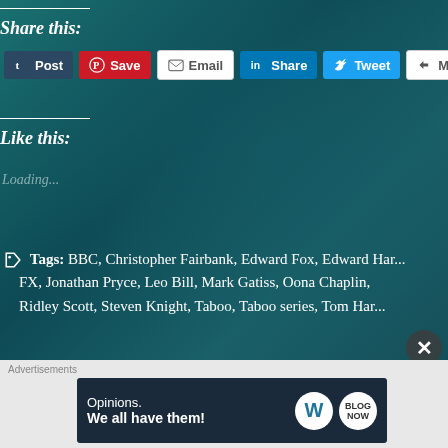Share this:
Post | Save | Email | Share | Tweet | More
Like this:
Loading...
Tags: BBC, Christopher Fairbank, Edward Fox, Edward Har... FX, Jonathan Pryce, Leo Bill, Mark Gatiss, Oona Chaplin, Ridley Scott, Steven Knight, Taboo, Taboo series, Tom Har...
[Figure (screenshot): Advertisement banner: Opinions. We all have them! with WordPress logo]
Advertisements